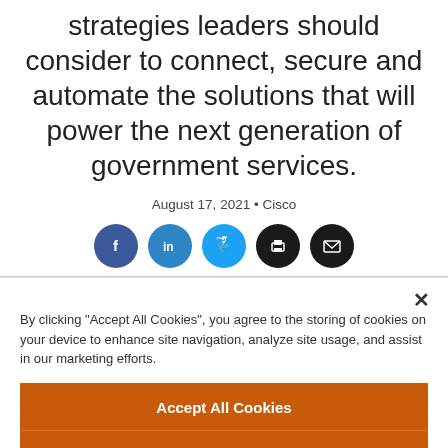strategies leaders should consider to connect, secure and automate the solutions that will power the next generation of government services.
August 17, 2021 • Cisco
[Figure (infographic): Row of five social sharing icon buttons: Facebook (dark blue circle with 'f'), LinkedIn (blue circle with 'in'), Twitter (light blue circle with bird), Print (black circle with printer icon), Email (black circle with envelope icon)]
By clicking "Accept All Cookies", you agree to the storing of cookies on your device to enhance site navigation, analyze site usage, and assist in our marketing efforts.
Accept All Cookies
Reject All
Cookies Settings